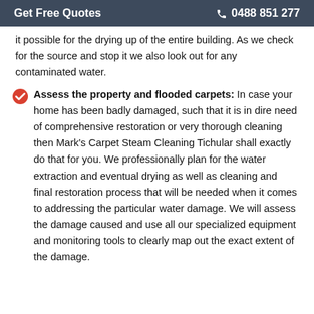Get Free Quotes   ✆ 0488 851 277
it possible for the drying up of the entire building. As we check for the source and stop it we also look out for any contaminated water.
Assess the property and flooded carpets: In case your home has been badly damaged, such that it is in dire need of comprehensive restoration or very thorough cleaning then Mark's Carpet Steam Cleaning Tichular shall exactly do that for you. We professionally plan for the water extraction and eventual drying as well as cleaning and final restoration process that will be needed when it comes to addressing the particular water damage. We will assess the damage caused and use all our specialized equipment and monitoring tools to clearly map out the exact extent of the damage.